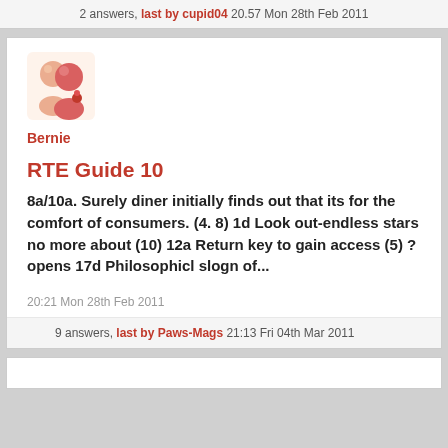2 answers, last by cupid04 20.57 Mon 28th Feb 2011
[Figure (illustration): Forum user avatar icon showing two stylized orange/pink figures representing people]
Bernie
RTE Guide 10
8a/10a. Surely diner initially finds out that its for the comfort of consumers. (4. 8) 1d Look out-endless stars no more about (10) 12a Return key to gain access (5) ? opens 17d Philosophicl slogn of...
20:21 Mon 28th Feb 2011
9 answers, last by Paws-Mags 21:13 Fri 04th Mar 2011